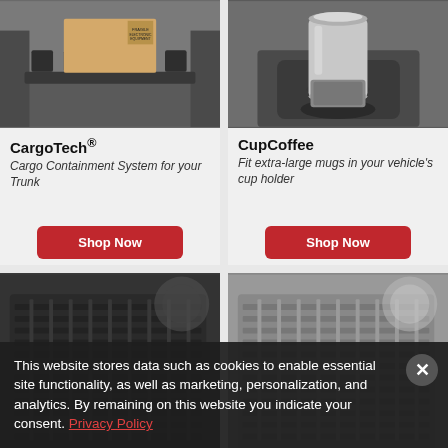[Figure (photo): CargoTech product photo showing cargo containment system with box labeled 'FRAGILE ELECTRONIC EQUIPMENT' in car trunk]
CargoTech®
Cargo Containment System for your Trunk
Shop Now
[Figure (photo): CupCoffee product photo showing large travel mug in vehicle cup holder]
CupCoffee
Fit extra-large mugs in your vehicle's cup holder
Shop Now
[Figure (photo): Black floor mat product photo, partially visible]
[Figure (photo): Gray floor mat product photo, partially visible]
This website stores data such as cookies to enable essential site functionality, as well as marketing, personalization, and analytics. By remaining on this website you indicate your consent. Privacy Policy